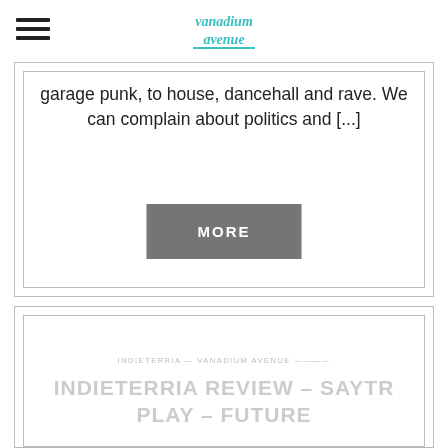Vanadium Avenue
garage punk, to house, dancehall and rave. We can complain about politics and [...]
MORE
INDIETERRIA REVIEW – SAYTR PLAY – FUTURE
INDIETERRIA — VANADIUM AVENUE
Dear Readers, Please don't show this review to Tom Ogden – for he will